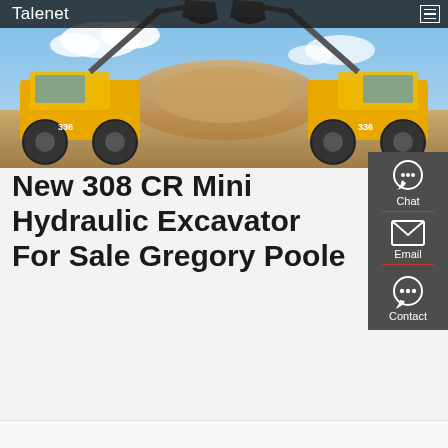Talenet
[Figure (photo): Two large yellow wheel loaders facing each other with raised buckets filled with dirt, against a blue sky background with sandy terrain]
New 308 CR Mini Hydraulic Excavator For Sale Gregory Poole
[Figure (infographic): Side panel with Chat, Email, and Contact buttons on dark gray background]